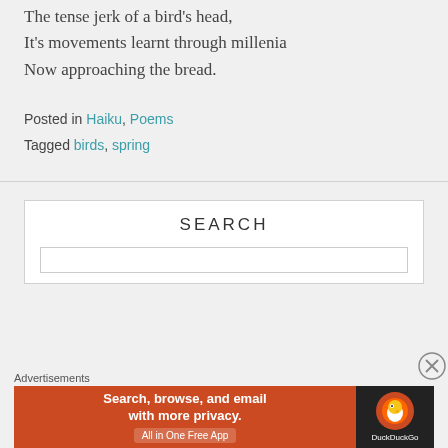The tense jerk of a bird's head,
It's movements learnt through millenia
Now approaching the bread.
Posted in Haiku, Poems
Tagged birds, spring
SEARCH
Advertisements
[Figure (other): DuckDuckGo advertisement banner: orange left side with text 'Search, browse, and email with more privacy. All in One Free App' and dark right side with DuckDuckGo duck logo and brand name]